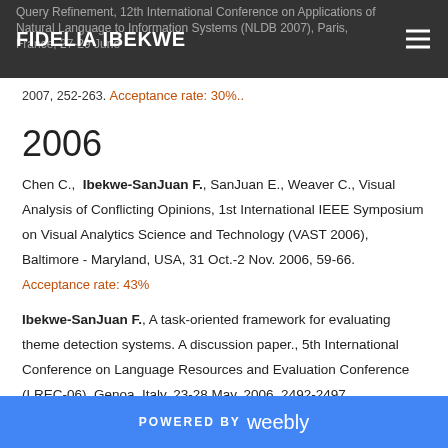FIDELIA IBEKWE
Query Refinement, 12th International Conference on Applications of Natural Language to Information Systems (NLDB 2007), Paris, France, 27-29 June 2007, 252-263. Acceptance rate: 30%..
2006
Chen C., Ibekwe-SanJuan F., SanJuan E., Weaver C., Visual Analysis of Conflicting Opinions, 1st International IEEE Symposium on Visual Analytics Science and Technology (VAST 2006), Baltimore - Maryland, USA, 31 Oct.-2 Nov. 2006, 59-66. Acceptance rate: 43%
Ibekwe-SanJuan F., A task-oriented framework for evaluating theme detection systems. A discussion paper., 5th International Conference on Language Resources and Evaluation Conference (LREC-06), Genoa, Italy, 23-28 May, 2006, 2492-2497.
POWERED BY weebly